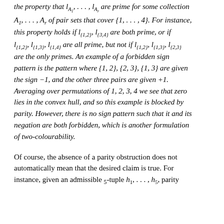the property that l_{A_1}, ..., l_{A_r} are prime for some collection A_1, ..., A_r of pair sets that cover {1, ..., 4}. For instance, this property holds if l_{{1,2}}, l_{{3,4}} are both prime, or if l_{{1,2}}, l_{{1,3}}, l_{{1,4}} are all prime, but not if l_{{1,2}}, l_{{1,3}}, l_{{2,3}} are the only primes. An example of a forbidden sign pattern is the pattern where {1,2},{2,3},{1,3} are given the sign -1, and the other three pairs are given +1. Averaging over permutations of 1,2,3,4 we see that zero lies in the convex hull, and so this example is blocked by parity. However, there is no sign pattern such that it and its negation are both forbidden, which is another formulation of two-colourability.
Of course, the absence of a parity obstruction does not automatically mean that the desired claim is true. For instance, given an admissible 5-tuple h_1, ..., h_5, parity